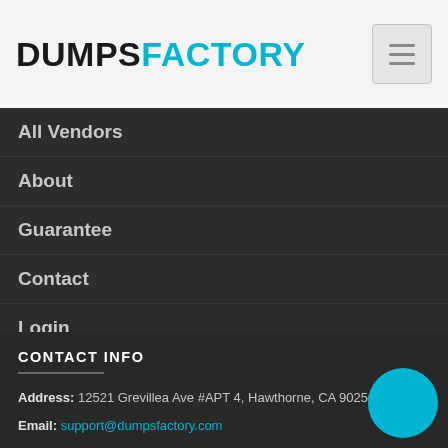DUMPSFACTORY
All Vendors
About
Guarantee
Contact
Login
CONTACT INFO
Address: 12521 Grevillea Ave #APT 4, Hawthorne, CA 90250
Email: support@dumpsfactory.com